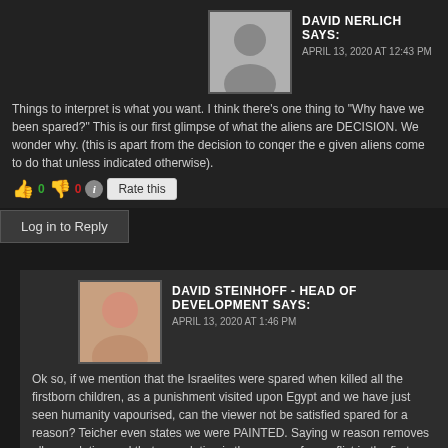DAVID NERLICH SAYS:
APRIL 13, 2020 AT 12:43 PM
Things to interpret is what you want. I think there's one thing to "Why have we been spared?" This is our first glimpse of what the aliens are DECISION. We wonder why. (this is apart from the decision to conqer the e given aliens come to do that unless indicated otherwise).
Log in to Reply
DAVID STEINHOFF - HEAD OF DEVELOPMENT SAYS:
APRIL 13, 2020 AT 1:46 PM
Ok so, if we mention that the Israelites were spared when killed all the firstborn children, as a punishment visited upon Egypt and we have just seen humanity vapourised, can the viewer not be satisfied spared for a reason? Teicher even states we were PAINTED. Saying w reason removes all speculation and that speculation is the source of a conflict in the first season. That gap enables the viewer. Allows them to mind until the plot surprises them.